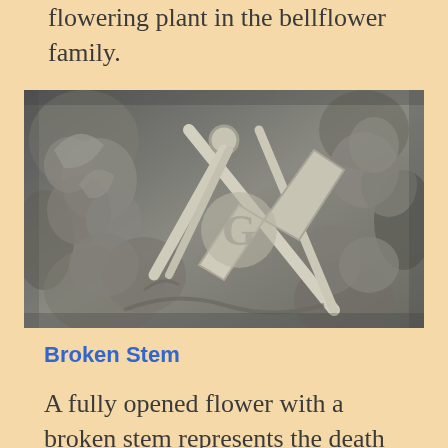flowering plant in the bellflower family.
[Figure (photo): Stone carving or relief depicting Masonic symbols including a compass and square with the letter G, surrounded by decorative stonework elements.]
Broken Stem
A fully opened flower with a broken stem represents the death of a mature